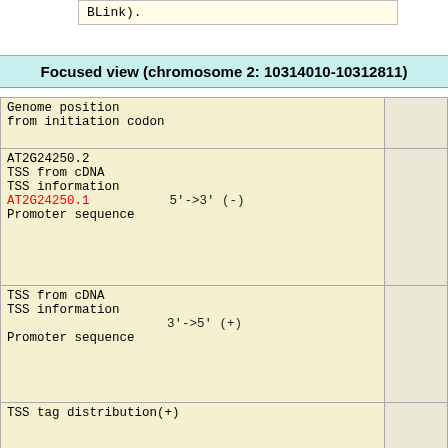| BLink). |
Focused view (chromosome 2: 10314010-10312811)
| Genome position
from initiation codon |  |
| AT2G24250.2
TSS from cDNA
TSS information
AT2G24250.1   5'->3' (-)
Promoter sequence |  |
| TSS from cDNA
TSS information
3'->5' (+)
Promoter sequence |  |
| TSS tag distribution(+) |  |
| TSS tag distribution(-) |  |